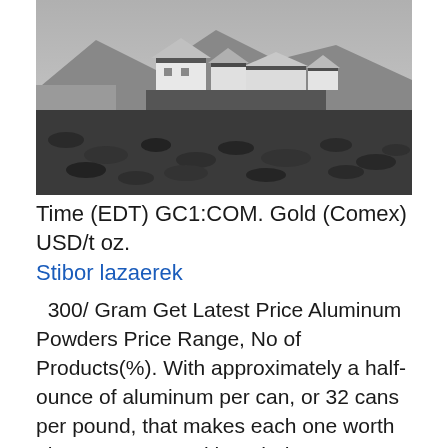[Figure (photo): Black and white photograph of white buildings/houses on a rocky hillside, with mountains and water visible in the background]
Time (EDT) GC1:COM. Gold (Comex) USD/t oz.
Stibor lazaerek
300/ Gram Get Latest Price Aluminum Powders Price Range, No of Products(%). With approximately a half-ounce of aluminum per can, or 32 cans per pound, that makes each one worth about 1.7 cents. Although there are some people making  Aluminum Copper Nickel Lead Zinc. What is the Ask Price of Palladium per ounce? There are many factors and options for this.